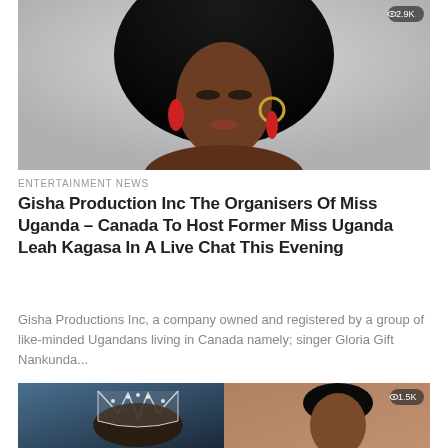[Figure (photo): Portrait photo of a Black woman with voluminous natural curly hair, wearing red tassel hoop earrings, with dramatic eye makeup, against a light gray background. View count badge showing 2.9K in top right corner.]
ENTERTAINMENT NEWS
Gisha Production Inc The Organisers Of Miss Uganda – Canada To Host Former Miss Uganda Leah Kagasa In A Live Chat This Evening
Gisha Productions Inc, a company owned and registered by a group of like-minded Ugandans living in Canada namely; singer Gloria Gift Nankunda...
[Figure (photo): Split image: left side shows a person wearing a large decorative crown/tiara in a blue-toned setting; right side shows a woman with straight black hair. View count badge showing 1.5K in top right corner.]